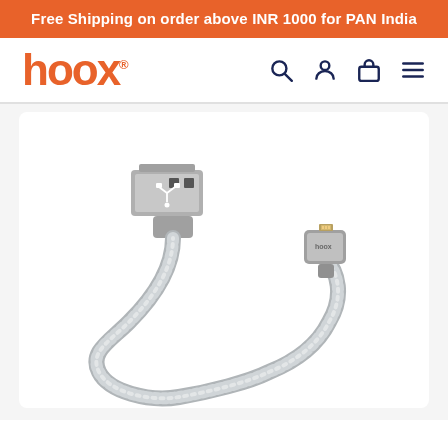Free Shipping on order above INR 1000 for PAN India
[Figure (logo): hoox brand logo in orange with registered trademark symbol]
[Figure (illustration): Product image of a silver metallic braided USB to Lightning cable with hoox branding on the Lightning connector end, shown coiled on a white background]